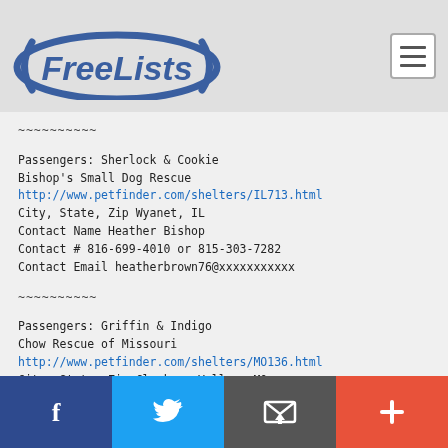FreeLists
~~~~~~~~~~
Passengers:  Sherlock & Cookie
Bishop's Small Dog Rescue
http://www.petfinder.com/shelters/IL713.html
City, State, Zip  Wyanet, IL
Contact Name  Heather Bishop
Contact #  816-699-4010 or 815-303-7282
Contact Email  heatherbrown76@xxxxxxxxxxx
~~~~~~~~~~
Passengers:  Griffin & Indigo
Chow Rescue of Missouri
http://www.petfinder.com/shelters/MO136.html
City, State, Zip  Clarkson Valley, MO